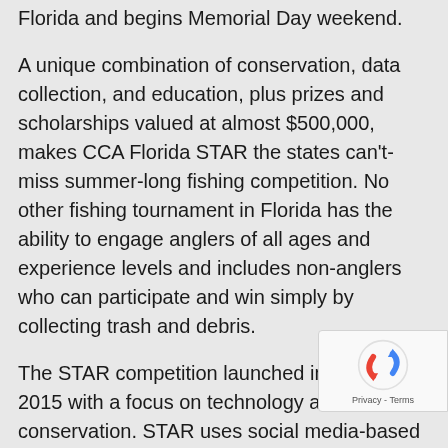Florida and begins Memorial Day weekend.
A unique combination of conservation, data collection, and education, plus prizes and scholarships valued at almost $500,000, makes CCA Florida STAR the states can't-miss summer-long fishing competition. No other fishing tournament in Florida has the ability to engage anglers of all ages and experience levels and includes non-anglers who can participate and win simply by collecting trash and debris.
The STAR competition launched in Florida in 2015 with a focus on technology and conservation. STAR uses social media-based events to educate the public on the importance of protecting Florida's marine resources. Recognized as a 'catch, photo and release' competition, STAR's smartphone app eliminates the requirement for anglers to harvest or capture and transport fish and constantly promotes the proper handling of a species in the competition.